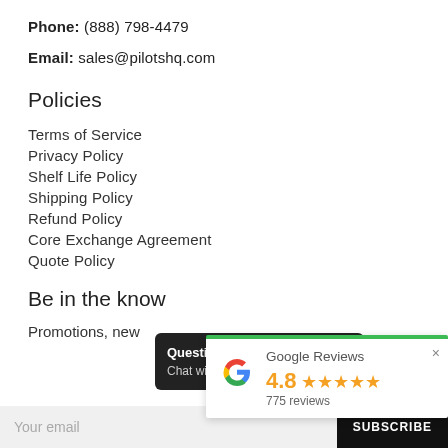Phone: (888) 798-4479
Email: sales@pilotshq.com
Policies
Terms of Service
Privacy Policy
Shelf Life Policy
Shipping Policy
Refund Policy
Core Exchange Agreement
Quote Policy
Be in the know
Promotions, new
[Figure (screenshot): Chat widget overlay: Questions? W... / Chat with us n...]
[Figure (screenshot): Google Reviews widget: 4.8 stars, 775 reviews]